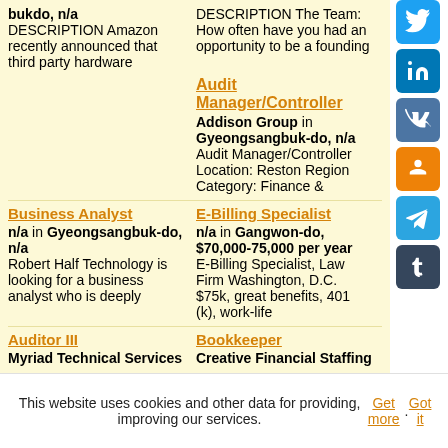bukdo, n/a
DESCRIPTION Amazon recently announced that third party hardware
DESCRIPTION The Team: How often have you had an opportunity to be a founding
Audit Manager/Controller
Addison Group in Gyeongsangbuk-do, n/a
Audit Manager/Controller Location: Reston Region Category: Finance &
Business Analyst
n/a in Gyeongsangbuk-do, n/a
Robert Half Technology is looking for a business analyst who is deeply
E-Billing Specialist
n/a in Gangwon-do, $70,000-75,000 per year
E-Billing Specialist, Law Firm Washington, D.C. $75k, great benefits, 401 (k), work-life
Auditor III
Myriad Technical Services
Bookkeeper
Creative Financial Staffing
This website uses cookies and other data for providing, improving our services. Get more. Got it